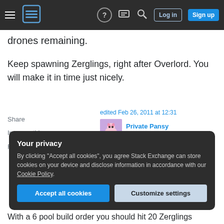Stack Exchange navigation bar with hamburger menu, logo, help, chat, search icons, Log in and Sign up buttons
drones remaining.
Keep spawning Zerglings, right after Overlord. You will make it in time just nicely.
Share
Improve this answer
Follow
edited Feb 26, 2011 at 12:31
Private Pansy
13.3k 🪙18 🥈83 🥉131
answered Aug 22, 2010 at 10:21
BabyOxide
Your privacy
By clicking "Accept all cookies", you agree Stack Exchange can store cookies on your device and disclose information in accordance with our Cookie Policy.
With a 6 pool build order you should hit 20 Zerglings